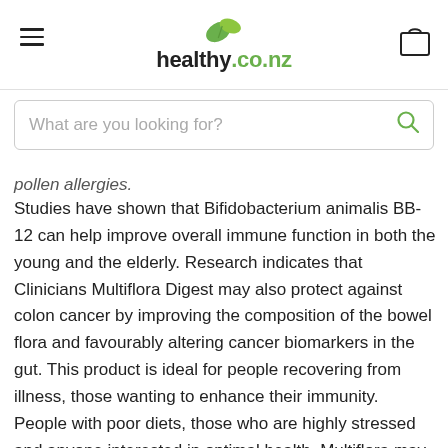healthy.co.nz
pollen allergies.
Studies have shown that Bifidobacterium animalis BB-12 can help improve overall immune function in both the young and the elderly. Research indicates that Clinicians Multiflora Digest may also protect against colon cancer by improving the composition of the bowel flora and favourably altering cancer biomarkers in the gut. This product is ideal for people recovering from illness, those wanting to enhance their immunity. People with poor diets, those who are highly stressed and anyone interested in optimal health. Multiflora may also be used as a probiotic replacement during bowel cleanses and liver detoxification regimes. It can also be recommended to women after anti